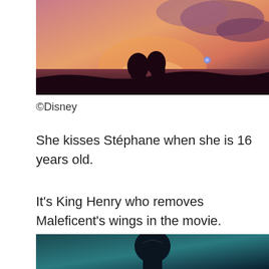[Figure (photo): Movie still from Maleficent showing two silhouetted figures against a warm sunset sky with purple and orange tones]
©Disney
She kisses Stéphane when she is 16 years old.
It's King Henry who removes Maleficent's wings in the movie.
[Figure (photo): Movie still showing a dark-costumed character, likely Maleficent, against a teal/dark background]